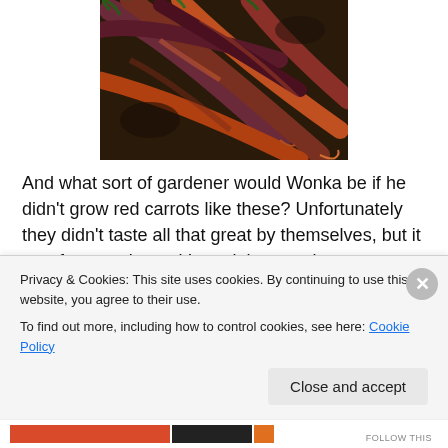[Figure (photo): A cluster of dark purple-red (heirloom) carrots with green tops, lying on soil/ground. The carrots are elongated and knobbly.]
And what sort of gardener would Wonka be if he didn't grow red carrots like these?  Unfortunately they didn't taste all that great by themselves, but it was fun to try'm and I used them to decorate our weekly coleslaw that I still can't stop making (I may need to seek help soon…) and [text continues below]
Privacy & Cookies: This site uses cookies. By continuing to use this website, you agree to their use.
To find out more, including how to control cookies, see here: Cookie Policy